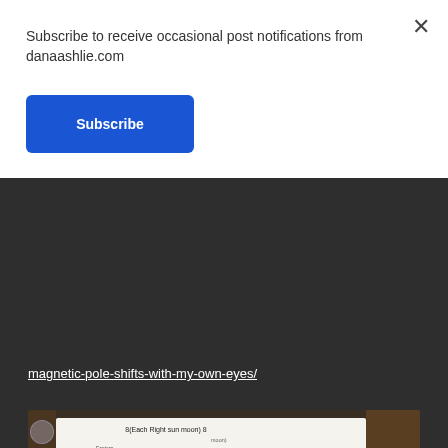Subscribe to receive occasional post notifications from danaashlie.com
Subscribe
×
magnetic-pole-shifts-with-my-own-eyes/
[Figure (photo): Handwritten diagram on white paper placed on a wooden table, showing Earth's magnetic pole shifts with circles, arrows, labels for North Hemisphere, South Hemisphere, Equinox Rise, and handwritten notes about the sun's movement across hemispheres. A glass and what appears to be a small dark object are visible on the table beside the paper.]